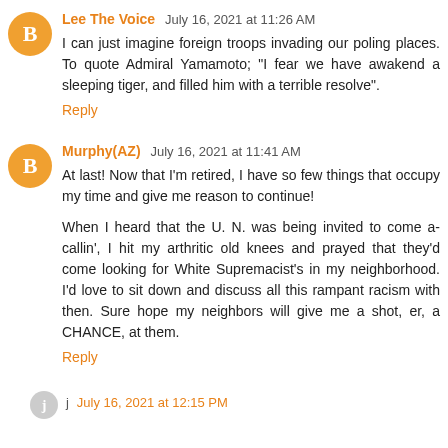Lee The Voice July 16, 2021 at 11:26 AM
I can just imagine foreign troops invading our poling places. To quote Admiral Yamamoto; "I fear we have awakend a sleeping tiger, and filled him with a terrible resolve".
Reply
Murphy(AZ) July 16, 2021 at 11:41 AM
At last! Now that I'm retired, I have so few things that occupy my time and give me reason to continue!

When I heard that the U. N. was being invited to come a-callin', I hit my arthritic old knees and prayed that they'd come looking for White Supremacist's in my neighborhood. I'd love to sit down and discuss all this rampant racism with then. Sure hope my neighbors will give me a shot, er, a CHANCE, at them.
Reply
j July 16, 2021 at 12:15 PM